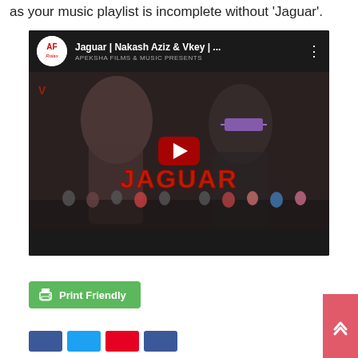as your music playlist is incomplete without 'Jaguar'.
[Figure (screenshot): YouTube video embed thumbnail showing 'Jaguar | Nakash Aziz & Vkey | ...' by APEKSHA FILMS MUSIC PRESENTS, with a play button overlay on a dark music video thumbnail featuring a woman and a man with sunglasses, and a crowd of dancers below. The 'JAGUAR' title text is visible on the thumbnail.]
Print Friendly
[Figure (other): Scroll to top button (double chevron up arrow, pink/red background) in bottom right corner]
[Figure (other): Social sharing buttons row: Facebook, Twitter, Pinterest, and another blue button]